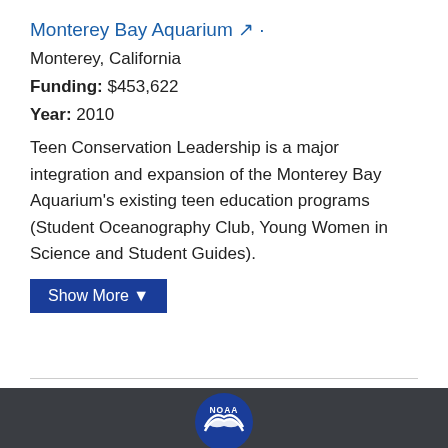Monterey Bay Aquarium ↗ ·
Monterey, California
Funding: $453,622
Year: 2010
Teen Conservation Leadership is a major integration and expansion of the Monterey Bay Aquarium's existing teen education programs (Student Oceanography Club, Young Women in Science and Student Guides).
Show More ▼
[Figure (logo): NOAA circular logo with white bird/wave emblem and NOAA text on dark blue background, shown in footer]